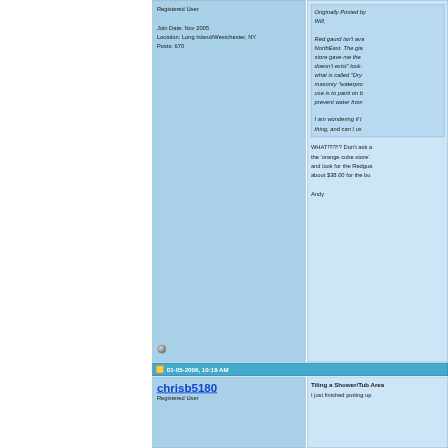Registered User
Join Date: Nov 2005
Location: Long Island/Westchester, NY
Posts: 670
Originally Posted by Will,

Red gaurd isn't ava... NorthEast. The gia... store gave me the ... doesn't exist" look. ... what is called "Dry... masonry "waterpro... use is to paint on b... prevent water from...

I am wondering if t... thing, and can I us...
WHAT!?!?!? Don't ask a... the 'orange cube store'... and look for the Redgua... about $38.00 for the bu...

Andy
01-05-2006, 10:19 AM
chrisb5180
Registered User
Tiling a Shower/Tub Area
I just finished putting up...